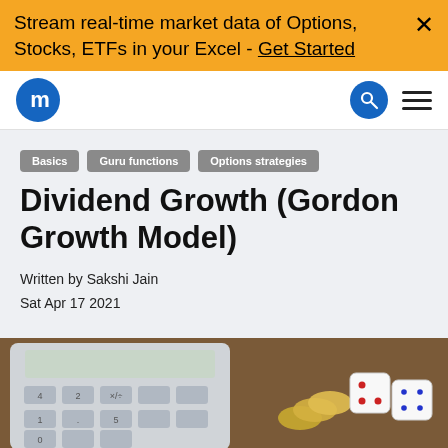Stream real-time market data of Options, Stocks, ETFs in your Excel - Get Started ×
[Figure (logo): Macroption logo — blue circle with white letter m, plus search icon and hamburger menu]
Basics
Guru functions
Options strategies
Dividend Growth (Gordon Growth Model)
Written by Sakshi Jain
Sat Apr 17 2021
[Figure (photo): Close-up photo of a calculator with grey keys showing numbers, gold coins, and two dice on a wooden surface]